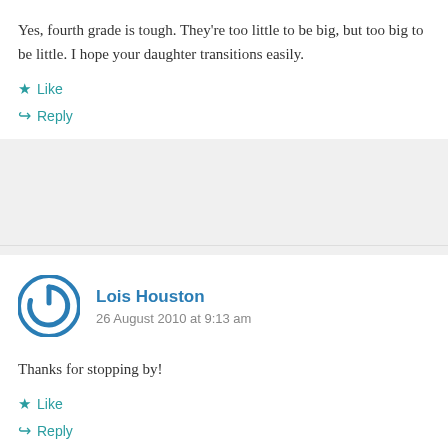Yes, fourth grade is tough. They're too little to be big, but too big to be little. I hope your daughter transitions easily.
★ Like
↪ Reply
Lois Houston
26 August 2010 at 9:13 am
Thanks for stopping by!
★ Like
↪ Reply